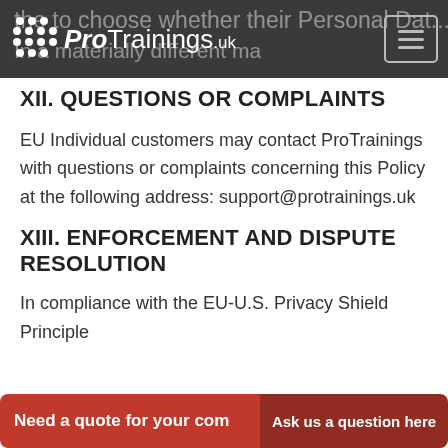ProTrainings.uk
XII. QUESTIONS OR COMPLAINTS
EU Individual customers may contact ProTrainings with questions or complaints concerning this Policy at the following address: support@protrainings.uk
XIII. ENFORCEMENT AND DISPUTE RESOLUTION
In compliance with the EU-U.S. Privacy Shield Principles, ProTrainings commits to resolve...
Need a quote for your com   Ask us a question here